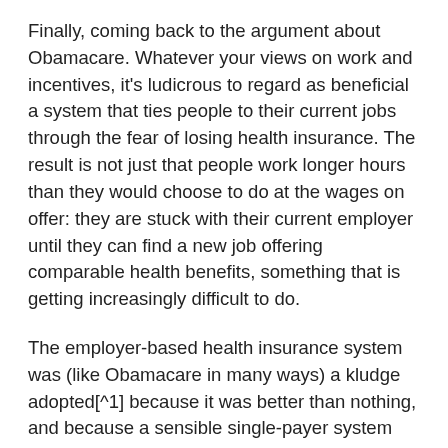Finally, coming back to the argument about Obamacare. Whatever your views on work and incentives, it's ludicrous to regard as beneficial a system that ties people to their current jobs through the fear of losing health insurance. The result is not just that people work longer hours than they would choose to do at the wages on offer: they are stuck with their current employer until they can find a new job offering comparable health benefits, something that is getting increasingly difficult to do.
The employer-based health insurance system was (like Obamacare in many ways) a kludge adopted[^1] because it was better than nothing, and because a sensible single-payer system couldn't get through Congress. But it's been broken for years, and can't be sustained indefinitely.